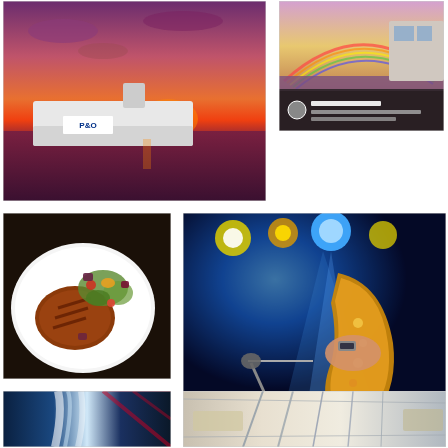[Figure (photo): P&O ferry cruise ship at sunset on the sea, dramatic purple and orange sky]
[Figure (photo): Rainbow over the sea with a cruise ship deck visible, social media post overlay with user comment]
[Figure (photo): Grilled meat dish with salad vegetables on a white plate, food photography]
[Figure (photo): Musician playing saxophone on stage with blue stage lighting and colorful spotlights]
[Figure (photo): Abstract blue and white image, possibly water splashing or fabric]
[Figure (photo): Interior shot possibly of a ship or building corridor with glass and metal structures]